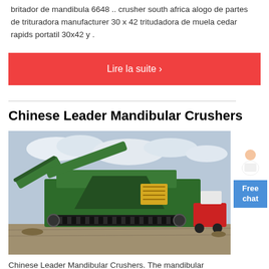britador de mandibula 6648 .. crusher south africa alogo de partes de trituradora manufacturer 30 x 42 tritudadora de muela cedar rapids portatil 30x42 y .
Lire la suite ›
Chinese Leader Mandibular Crushers
[Figure (photo): Green mobile jaw crusher / mandibular crusher machine on tracks at an outdoor industrial site with gravel ground and cloudy sky]
Chinese Leader Mandibular Crushers. The mandibular